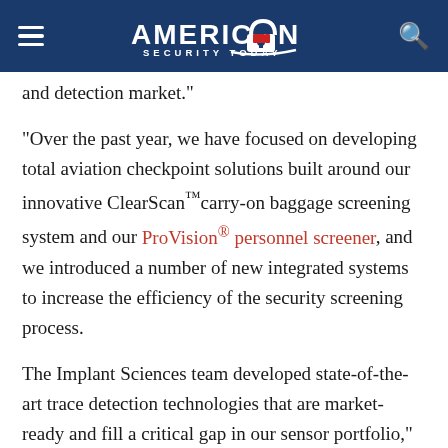AMERICAN SECURITY TODAY
g … and detection market.”
“Over the past year, we have focused on developing total aviation checkpoint solutions built around our innovative ClearScan™ carry-on baggage screening system and our ProVision® personnel screener, and we introduced a number of new integrated systems to increase the efficiency of the security screening process.
The Implant Sciences team developed state-of-the-art trace detection technologies that are market-ready and fill a critical gap in our sensor portfolio,”